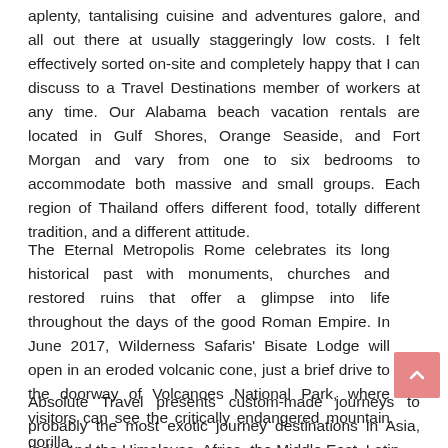aplenty, tantalising cuisine and adventures galore, and all out there at usually staggeringly low costs. I felt effectively sorted on-site and completely happy that I can discuss to a Travel Destinations member of workers at any time. Our Alabama beach vacation rentals are located in Gulf Shores, Orange Seaside, and Fort Morgan and vary from one to six bedrooms to accommodate both massive and small groups. Each region of Thailand offers different food, totally different tradition, and a different attitude.
The Eternal Metropolis Rome celebrates its long historical past with monuments, churches and restored ruins that offer a glimpse into life throughout the days of the good Roman Empire. In June 2017, Wilderness Safaris' Bisate Lodge will open in an eroded volcanic cone, just a brief drive to the doorway of Volcanoes National Park, where visitors can see the critically endangered mountain gorilla.
Absolute Travel presents custom-made journeys to probably the most exotic journey destinations in Asia, India and the Himalayas, Africa, the Middle East, Latin